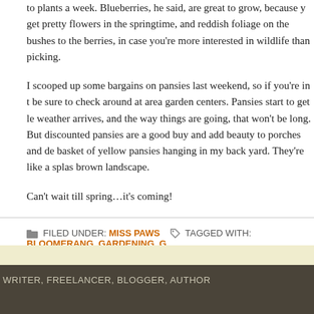to plants a week. Blueberries, he said, are great to grow, because you get pretty flowers in the springtime, and reddish foliage on the bushes to the berries, in case you're more interested in wildlife than picking.
I scooped up some bargains on pansies last weekend, so if you're in t be sure to check around at area garden centers. Pansies start to get le weather arrives, and the way things are going, that won't be long. But discounted pansies are a good buy and add beauty to porches and de basket of yellow pansies hanging in my back yard. They're like a splas brown landscape.
Can't wait till spring…it's coming!
FILED UNDER: MISS PAWS  TAGGED WITH: BLOOMERANG, GARDENING, G
WRITER, FREELANCER, BLOGGER, AUTHOR